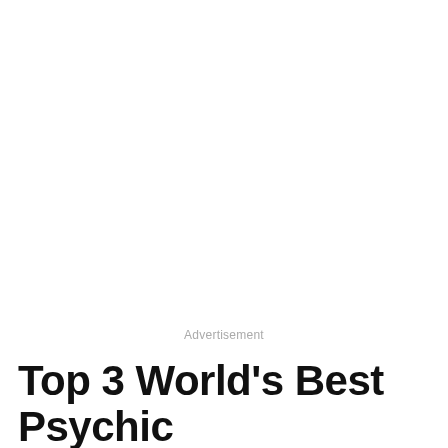Advertisement
Top 3 World's Best Psychic